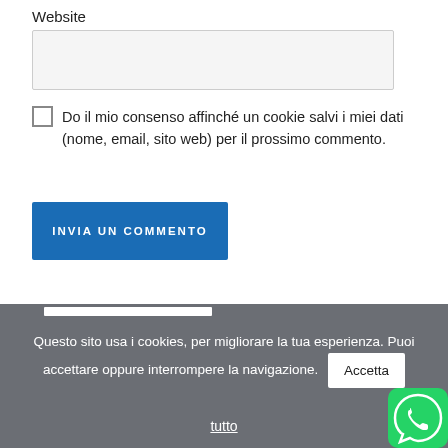Website
[Figure (screenshot): Input field for website URL, light gray background]
[Figure (screenshot): Empty checkbox (unchecked square)]
Do il mio consenso affinché un cookie salvi i miei dati (nome, email, sito web) per il prossimo commento.
[Figure (screenshot): Blue submit button labeled INVIA UN COMMENTO]
Questo sito usa i cookies, per migliorare la tua esperienza. Puoi accettare oppure interrompere la navigazione.
Accetta
tutto